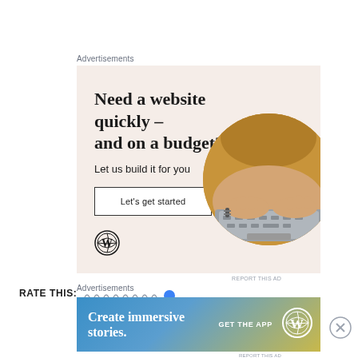Advertisements
[Figure (illustration): WordPress advertisement: 'Need a website quickly – and on a budget? Let us build it for you' with a 'Let's get started' button, WordPress logo, and a circular photo of hands typing on a laptop. Beige/cream background.]
REPORT THIS AD
RATE THIS:
Advertisements
[Figure (illustration): WordPress banner ad: 'Create immersive stories.' with 'GET THE APP' call to action and WordPress logo. Blue to yellow-green gradient background.]
REPORT THIS AD